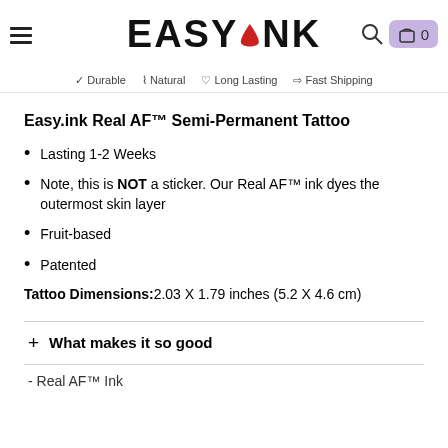EASY.INK — Durable, Natural, Long Lasting, Fast Shipping
Easy.ink Real AF™ Semi-Permanent Tattoo
Lasting 1-2 Weeks
Note, this is NOT a sticker. Our Real AF™ ink dyes the outermost skin layer
Fruit-based
Patented
Tattoo Dimensions: 2.03 X 1.79 inches (5.2 X 4.6 cm)
+ What makes it so good
- Real AF™ Ink